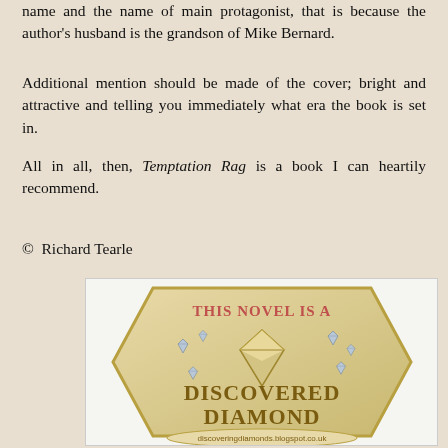name and the name of main protagonist, that is because the author's husband is the grandson of Mike Bernard.
Additional mention should be made of the cover; bright and attractive and telling you immediately what era the book is set in.
All in all, then, Temptation Rag is a book I can heartily recommend.
© Richard Tearle
[Figure (logo): A hexagonal badge with gold/tan background. Text reads 'THIS NOVEL IS A' in coral/red at the top, a large diamond illustration in the center with smaller diamond icons around it, 'DISCOVERED DIAMOND' in large dark gold serif letters below the diamond, and 'discoveringdiamonds.blogspot.co.uk' in a banner at the bottom.]